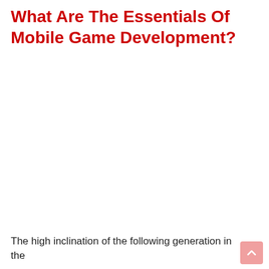What Are The Essentials Of Mobile Game Development?
The high inclination of the following generation in the